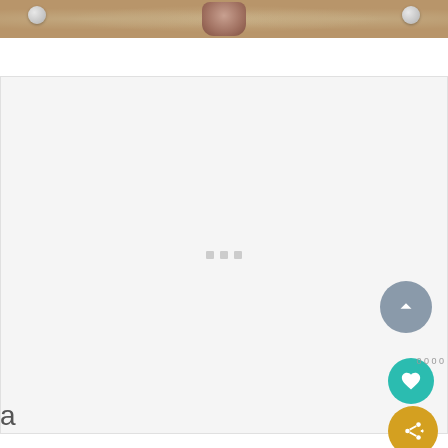[Figure (photo): Top strip showing a decorative arrangement with pearls/beads on wooden surface with a cup or bowl in the center, golden grain-like texture]
[Figure (screenshot): Large light gray content area with three small square loading dots in the center, a gray circle back-to-top button with chevron up icon on right side, a teal heart/favorite button, and a yellow/gold share button with plus icon]
[Figure (screenshot): Bottom advertisement bar: Lyngen Experience - Discover northern Norway - OPEN button in blue, close X button on right, with dark background]